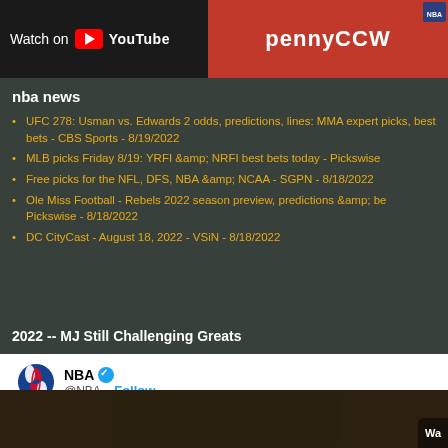[Figure (screenshot): Top banner with 'Watch on YouTube' text and YouTube icon on dark background, and red section with 'pennyccw' text]
nba news
UFC 278: Usman vs. Edwards 2 odds, predictions, lines: MMA expert picks, best bets - CBS Sports - 8/19/2022
MLB picks Friday 8/19: YRFI &amp; NRFI best bets today - Pickswise
Free picks for the NFL, DFS, NBA &amp; NCAA - SGPN - 8/18/2022
Ole Miss Football - Rebels 2022 season preview, predictions &amp; be Pickswise - 8/18/2022
DC CityCast - August 18, 2022 - VSiN - 8/18/2022
2022 -- MJ Still Challenging Greats
[Figure (screenshot): Embedded tweet from @NBA with NBA logo, verified badge, Follow button, text: 😂 Magic & Michael, still competitive! #NBA75, and partial video thumbnail below]
[Figure (screenshot): Bottom partial image of what appears to be a video, dark brownish tones, with 'Wa' text overlay in bottom right]